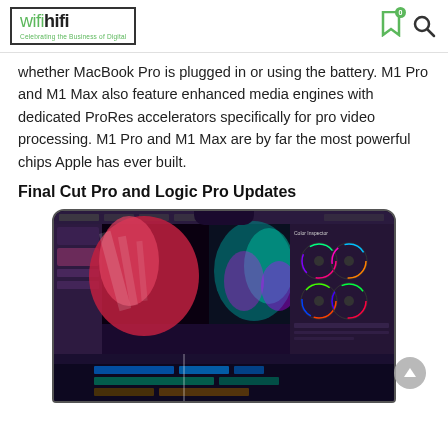wifihifi - Celebrating the Business of Digital
whether MacBook Pro is plugged in or using the battery. M1 Pro and M1 Max also feature enhanced media engines with dedicated ProRes accelerators specifically for pro video processing. M1 Pro and M1 Max are by far the most powerful chips Apple has ever built.
Final Cut Pro and Logic Pro Updates
[Figure (screenshot): A MacBook Pro with notch displaying Final Cut Pro video editing software with colorful visual content and color grading wheels panel on right side.]